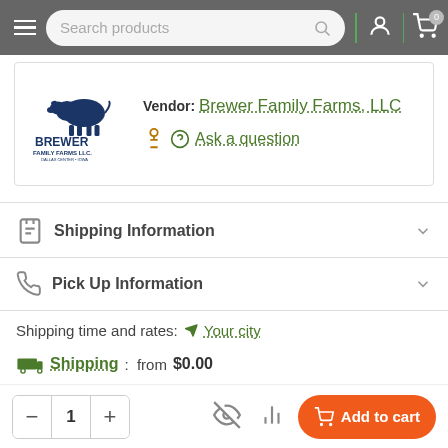Search products
[Figure (logo): Brewer Family Farms LLC logo with blue cow silhouette and text BREWER FAMILY FARMS LLC DALLAS CENTER IOWA]
Vendor: Brewer Family Farms, LLC
Ask a question
Shipping Information
Pick Up Information
Shipping time and rates: Your city
Shipping: from $0.00